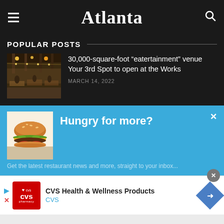Atlanta
POPULAR POSTS
[Figure (photo): Interior of a restaurant venue with exposed beams and ambient lighting]
30,000-square-foot “eatertainment” venue Your 3rd Spot to open at the Works
MARCH 14, 2022
[Figure (photo): A cheeseburger on a dark background]
Hungry for more?
[Figure (logo): CVS Pharmacy logo with heart symbol on red background]
CVS Health & Wellness Products
CVS